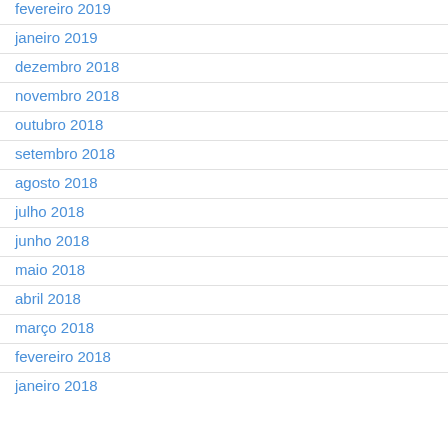fevereiro 2019
janeiro 2019
dezembro 2018
novembro 2018
outubro 2018
setembro 2018
agosto 2018
julho 2018
junho 2018
maio 2018
abril 2018
março 2018
fevereiro 2018
janeiro 2018